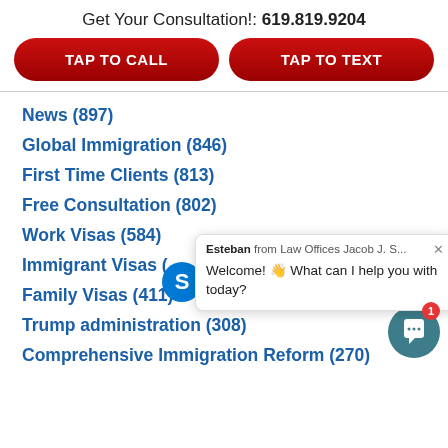Get Your Consultation!: 619.819.9204
[Figure (screenshot): Two red pill-shaped buttons: TAP TO CALL and TAP TO TEXT]
News (897)
Global Immigration (846)
First Time Clients (813)
Free Consultation (802)
Work Visas (584)
Immigrant Visas (
Family Visas (411)
Trump administration (308)
Comprehensive Immigration Reform (270)
Esteban from Law Offices Jacob J. S... Welcome! 👋 What can I help you with today?